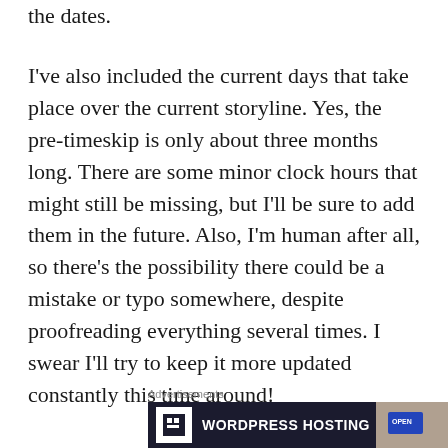the dates.
I've also included the current days that take place over the current storyline. Yes, the pre-timeskip is only about three months long. There are some minor clock hours that might still be missing, but I'll be sure to add them in the future. Also, I'm human after all, so there's the possibility there could be a mistake or typo somewhere, despite proofreading everything several times. I swear I'll try to keep it more updated constantly this time around!
Advertisements
[Figure (screenshot): Advertisement banner for WordPress Hosting with logo and partial photo of open sign]